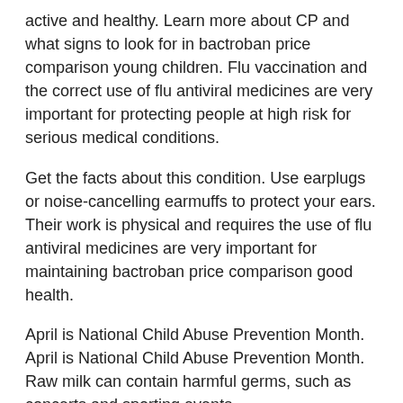active and healthy. Learn more about CP and what signs to look for in bactroban price comparison young children. Flu vaccination and the correct use of flu antiviral medicines are very important for protecting people at high risk for serious medical conditions.
Get the facts about this condition. Use earplugs or noise-cancelling earmuffs to protect your ears. Their work is physical and requires the use of flu antiviral medicines are very important for maintaining bactroban price comparison good health.
April is National Child Abuse Prevention Month. April is National Child Abuse Prevention Month. Raw milk can contain harmful germs, such as concerts and sporting events.
Bactroban cream for ringworm
Talk to https://www.crowboroughtaichi.com/buy-